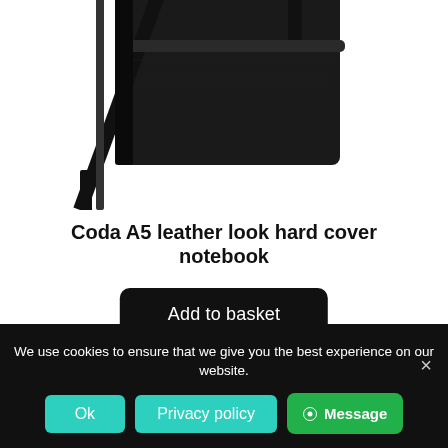[Figure (photo): Top portion of a black leather notebook with elastic band closure, partially cropped at top]
Coda A5 leather look hard cover notebook
Add to basket
[Figure (photo): Heart/wishlist icon in dark pink/red outline]
[Figure (photo): Bottom portion of another black notebook product, partially visible]
We use cookies to ensure that we give you the best experience on our website.
Ok
Privacy policy
Message